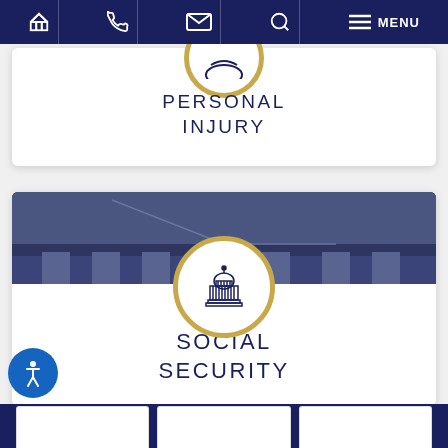[Figure (screenshot): Navigation bar with home, phone, email, search, and menu icons on dark navy background]
[Figure (illustration): Partial card showing PERSONAL INJURY text with gold circle icon at top]
PERSONAL INJURY
[Figure (illustration): Card with courthouse/Capitol building background image and gold-circled capitol building icon]
SOCIAL SECURITY
[Figure (illustration): Accessibility wheelchair icon in blue circle, bottom left]
[Figure (illustration): Footer with three white boxes on dark navy background]